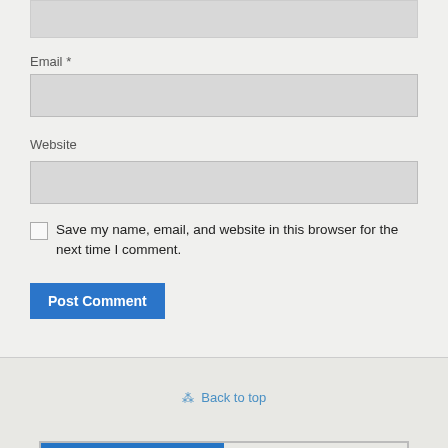[Figure (screenshot): Top portion of a web form input box (partially visible at top of page)]
Email *
[Figure (screenshot): Email input field (gray rectangle)]
Website
[Figure (screenshot): Website input field (gray rectangle)]
Save my name, email, and website in this browser for the next time I comment.
Post Comment
⁂ Back to top
Mobile   Desktop